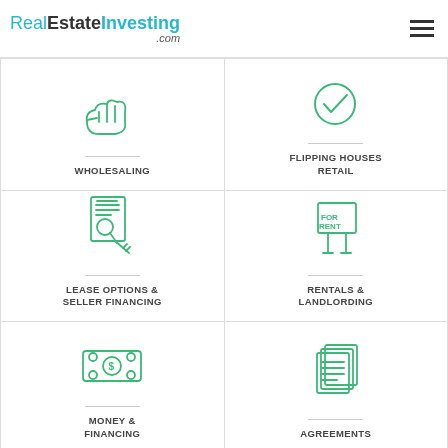RealEstateInvesting.com
[Figure (illustration): Hand holding/offering icon in green outline style]
WHOLESALING
[Figure (illustration): Checkmark circle icon in green outline style]
FLIPPING HOUSES RETAIL
[Figure (illustration): Lease Options document with magnifying glass and key icon in green outline style]
LEASE OPTIONS & SELLER FINANCING
[Figure (illustration): For Rent sign icon in green outline style]
RENTALS & LANDLORDING
[Figure (illustration): Dollar bill / money icon in green outline style]
MONEY & FINANCING
[Figure (illustration): Stack of documents / agreements icon in green outline style]
AGREEMENTS
[Figure (illustration): Group of people / contacts icon in green outline style]
CONTACTS
[Figure (illustration): House with person and tools / real estate icon in green outline style]
REAL ESTATE